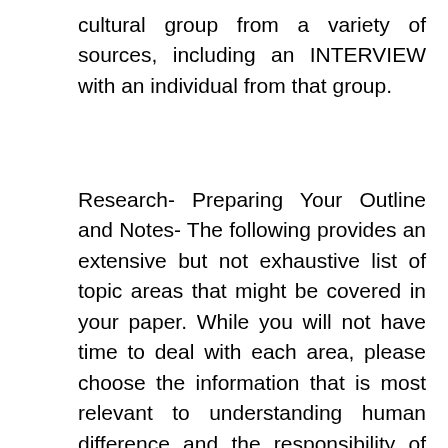cultural group from a variety of sources, including an INTERVIEW with an individual from that group.
Research- Preparing Your Outline and Notes- The following provides an extensive but not exhaustive list of topic areas that might be covered in your paper. While you will not have time to deal with each area, please choose the information that is most relevant to understanding human difference and the responsibility of health care workers for responding to these differences in a health care setting. Please have at least five outside sources in addition to your interview and other